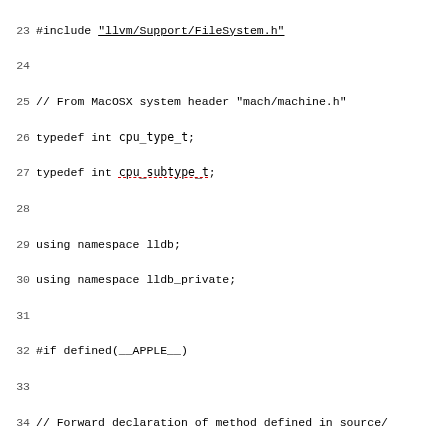Source code listing, lines 23-52, C++ code for LLDB module including FileAtPathContainsArchAndUUID and LocateMacOSXFilesUsingDebugSymbols functions